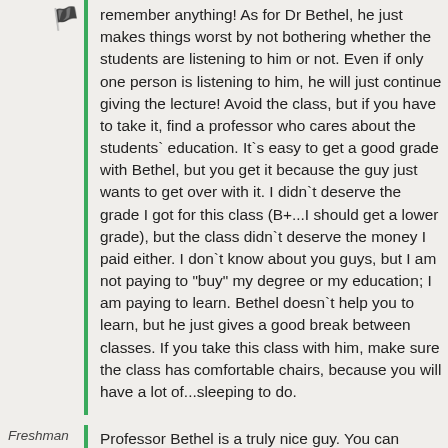[Figure (illustration): Flag icon indicating a report/flag action]
remember anything! As for Dr Bethel, he just makes things worst by not bothering whether the students are listening to him or not. Even if only one person is listening to him, he will just continue giving the lecture! Avoid the class, but if you have to take it, find a professor who cares about the students` education. It`s easy to get a good grade with Bethel, but you get it because the guy just wants to get over with it. I didn`t deserve the grade I got for this class (B+...I should get a lower grade), but the class didn`t deserve the money I paid either. I don`t know about you guys, but I am not paying to "buy" my degree or my education; I am paying to learn. Bethel doesn`t help you to learn, but he just gives a good break between classes. If you take this class with him, make sure the class has comfortable chairs, because you will have a lot of...sleeping to do.
Freshman
Professor Bethel is a truly nice guy. You can...